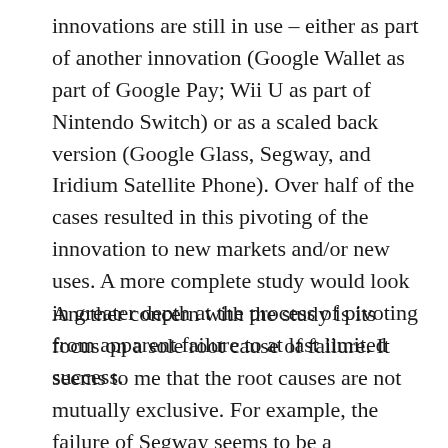innovations are still in use – either as part of another innovation (Google Wallet as part of Google Pay; Wii U as part of Nintendo Switch) or as a scaled back version (Google Glass, Segway, and Iridium Satellite Phone). Over half of the cases resulted in this pivoting of the innovation to new markets and/or new uses. A more complete study would look in greater depth at the process of pivoting from apparent failure to at last limited success.
Another concern with the study is its focus on a sole root cause of failure. It seems to me that the root causes are not mutually exclusive. For example, the failure of Segway seems to be a combination of no market demand (due to a